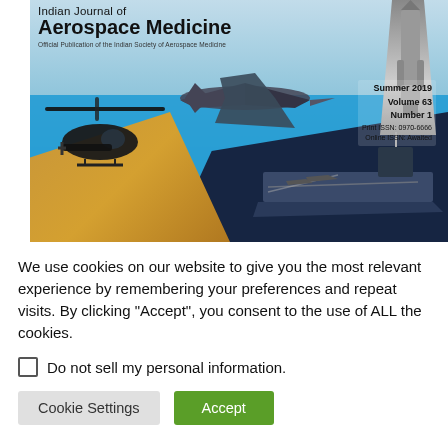[Figure (illustration): Cover of Indian Journal of Aerospace Medicine, Summer 2019, Volume 63, Number 1. Shows a collage with a fighter jet in blue sky, military helicopter over desert, aircraft carrier at sea, and a rocket. Title text overlaid: 'Indian Journal of Aerospace Medicine — Official Publication of the Indian Society of Aerospace Medicine'. Issue info: Summer 2019, Volume 63, Number 1, Print ISSN: 0970-6666, Online ISSN: Awaited.]
We use cookies on our website to give you the most relevant experience by remembering your preferences and repeat visits. By clicking "Accept", you consent to the use of ALL the cookies.
Do not sell my personal information.
Cookie Settings   Accept